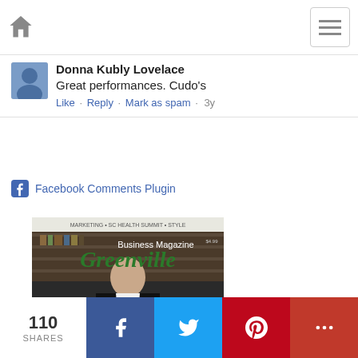Navigation bar with home icon and menu icon
Donna Kubly Lovelace
Great performances. Cudo's
Like · Reply · Mark as spam · 3y
Facebook Comments Plugin
[Figure (photo): Cover of Greenville Business Magazine featuring a man in a black suit standing in front of bookshelves, with the text 'TEXTILE' visible at the bottom]
110 SHARES | Facebook share | Twitter share | Pinterest share | More